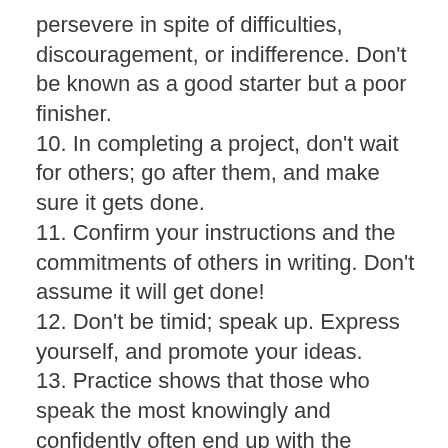persevere in spite of difficulties, discouragement, or indifference. Don't be known as a good starter but a poor finisher.
10. In completing a project, don't wait for others; go after them, and make sure it gets done.
11. Confirm your instructions and the commitments of others in writing. Don't assume it will get done!
12. Don't be timid; speak up. Express yourself, and promote your ideas.
13. Practice shows that those who speak the most knowingly and confidently often end up with the assignment to get it done.
14. Strive for brevity and clarity in oral and written reports.
15. Be extremely careful of the accuracy of your statements.
16. Don't overlook the fact that you are working